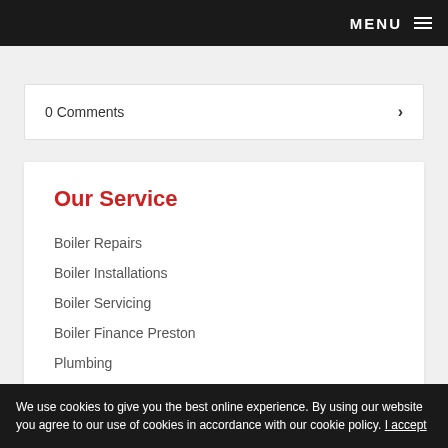MENU
0 Comments
Our Service
Boiler Repairs
Boiler Installations
Boiler Servicing
Boiler Finance Preston
Plumbing
Home Improvements
We use cookies to give you the best online experience. By using our website you agree to our use of cookies in accordance with our cookie policy. I accept